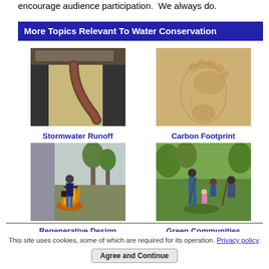encourage audience participation. We always do.
More Topics Relevant To Water Conservation
[Figure (photo): Stormwater pipe/gutter draining water, close-up of downspout]
Stormwater Runoff
[Figure (photo): Footprint impression in sand on a beach]
Carbon Footprint
[Figure (photo): Person in outdoor setting near fire on ground, regenerative design activity]
Regenerative Design
[Figure (photo): Group of people working together in green outdoor community setting]
Green Communities
This site uses cookies, some of which are required for its operation. Privacy policy.